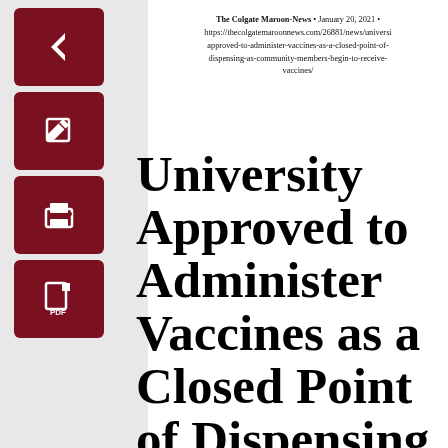The Colgate Maroon-News • January 20, 2021 • https://thecolgatemaroonnews.com/26881/news/university-approved-to-administer-vaccines-as-a-closed-point-of-dispensing-as-community-members-begin-to-receive-vaccines/
University Approved to Administer Vaccines as a Closed Point of Dispensing as